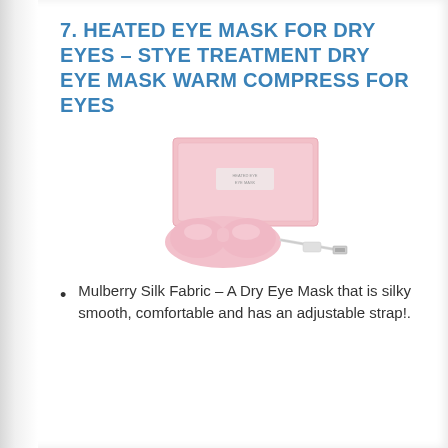7. HEATED EYE MASK FOR DRY EYES – STYE TREATMENT DRY EYE MASK WARM COMPRESS FOR EYES
[Figure (photo): Pink heated eye mask with USB cable and pink rectangular box packaging on white background]
Mulberry Silk Fabric – A Dry Eye Mask that is silky smooth, comfortable and has an adjustable strap!.